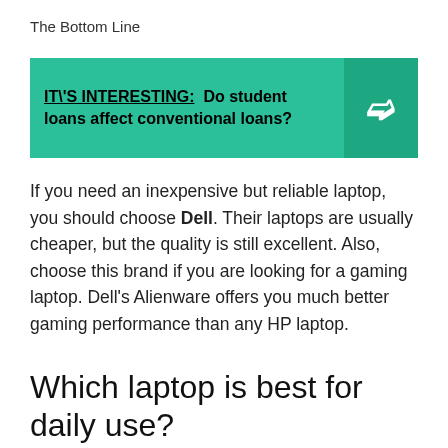The Bottom Line
[Figure (infographic): Teal banner with bold text: IT\'S INTERESTING: Do student loans affect conventional loans? with a right-pointing arrow on a darker teal background on the right side.]
If you need an inexpensive but reliable laptop, you should choose Dell. Their laptops are usually cheaper, but the quality is still excellent. Also, choose this brand if you are looking for a gaming laptop. Dell’s Alienware offers you much better gaming performance than any HP laptop.
Which laptop is best for daily use?